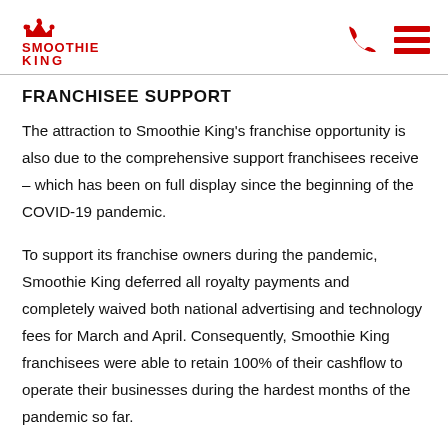Smoothie King
FRANCHISEE SUPPORT
The attraction to Smoothie King's franchise opportunity is also due to the comprehensive support franchisees receive – which has been on full display since the beginning of the COVID-19 pandemic.
To support its franchise owners during the pandemic, Smoothie King deferred all royalty payments and completely waived both national advertising and technology fees for March and April. Consequently, Smoothie King franchisees were able to retain 100% of their cashflow to operate their businesses during the hardest months of the pandemic so far.